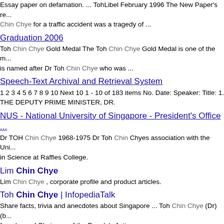Essay paper on defamation. ... TohLibel February 1996 The New Paper's re... Chin Chye for a traffic accident was a tragedy of ...
Graduation 2006 — Toh Chin Chye Gold Medal The Toh Chin Chye Gold Medal is one of the m... is named after Dr Toh Chin Chye who was ...
Speech-Text Archival and Retrieval System — 1 2 3 4 5 6 7 8 9 10 Next 10 1 - 10 of 183 items No. Date: Speaker: Title: 1. THE DEPUTY PRIME MINISTER, DR.
NUS - National University of Singapore - President's Office ... — Dr TOH Chin Chye 1968-1975 Dr Toh Chin Chyes association with the Uni... in Science at Raffles College.
Lim Chin Chye — Lim Chin Chye , corporate profile and product articles.
Toh Chin Chye | InfopediaTalk — Share facts, trivia and anecdotes about Singapore ... Toh Chin Chye (Dr) (b... founder and Chairman of the People's Action ...
Chin Chye Construction Co., Singapore — Chin Chye Construction Co. Yishun, corporate profile and product articles.,
NUS - National University of Singapore - History - Vice ... — Toh Chin Chye 1968-1975 Education. Secondary education in Perak; Raffle...